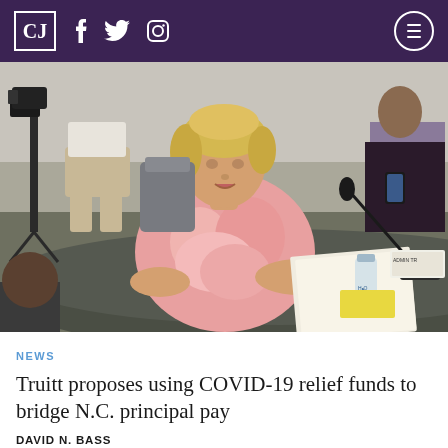CJ | f [twitter] [instagram] [menu]
[Figure (photo): A woman with short blonde hair wearing a pink floral blouse sits at a conference table speaking into a microphone, with papers in front of her. Camera equipment and other people are visible in the background of what appears to be a government hearing room.]
NEWS
Truitt proposes using COVID-19 relief funds to bridge N.C. principal pay
DAVID N. BASS